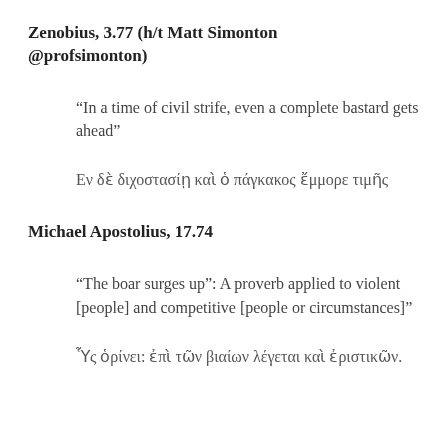Zenobius, 3.77 (h/t Matt Simonton @profsimonton)
“In a time of civil strife, even a complete bastard gets ahead”
Εν δὲ διχοστασίῃ καὶ ὁ πάγκακος ἔμμορε τιμῆς
Michael Apostolius, 17.74
“The boar surges up”: A proverb applied to violent [people] and competitive [people or circumstances]”
ὤς ὀρίνει: ἐπὶ τῶν βιαίων λέγεται καὶ ἐριστικῶν.